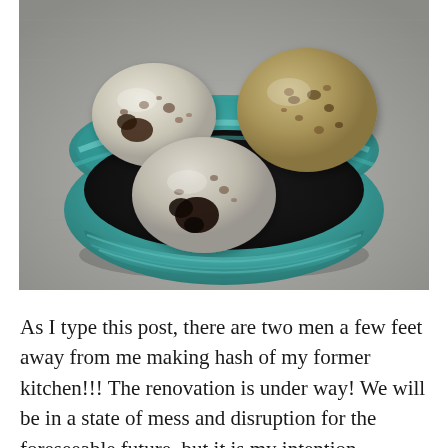[Figure (photo): A teal/turquoise ceramic bowl containing four speckled quail eggs — two pale cream-white with dark brown spots and two tan/golden with brown speckles — resting on a gray linen textile background.]
As I type this post, there are two men a few feet away from me making hash of my former kitchen!!! The renovation is under way! We will be in a state of mess and disruption for the foreseeable future, but it is my intention